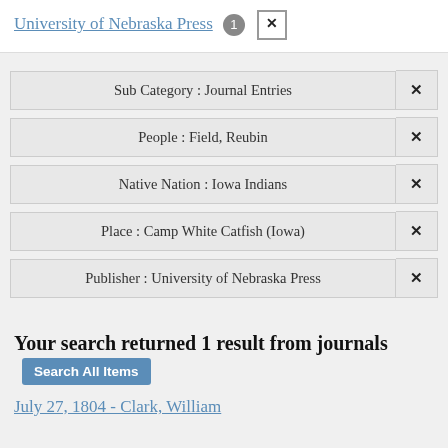University of Nebraska Press [1] [x]
Sub Category : Journal Entries [x]
People : Field, Reubin [x]
Native Nation : Iowa Indians [x]
Place : Camp White Catfish (Iowa) [x]
Publisher : University of Nebraska Press [x]
Your search returned 1 result from journals Search All Items
July 27, 1804 - Clark, William